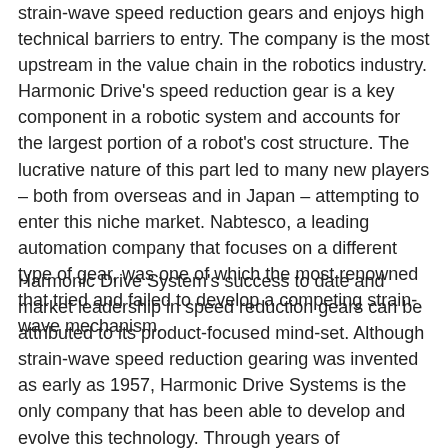strain-wave speed reduction gears and enjoys high technical barriers to entry. The company is the most upstream in the value chain in the robotics industry. Harmonic Drive's speed reduction gear is a key component in a robotic system and accounts for the largest portion of a robot's cost structure. The lucrative nature of this part led to many new players – both from overseas and in Japan – attempting to enter this niche market. Nabtesco, a leading automation company that focuses on a different type of gear, was one of which the most renowned that tried and failed to develop a competing strain-wave mechanism.
Harmonic Drive System's success to date and market leadership in speed reduction gears can be attributed to its product-focused mind-set. Although strain-wave speed reduction gearing was invented as early as 1957, Harmonic Drive Systems is the only company that has been able to develop and evolve this technology. Through years of cumulative innovation it has 'perfected' the strain-wave gear and its application. These efforts have culminated in a